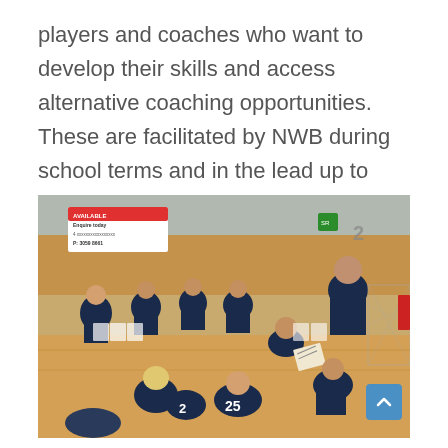players and coaches who want to develop their skills and access alternative coaching opportunities. These are facilitated by NWB during school terms and in the lead up to each upcoming representative season.
[Figure (photo): A basketball team huddle in a gymnasium. Several young players in dark blue uniforms (numbers 2 and 25 visible) sit on the floor while two coaches crouch and stand over them, one holding a clipboard. A sign in the background reads 'AVAILABLE Enquire today P: 3059 8661'. The number 2 is visible on a scoreboard or sign in the upper area.]